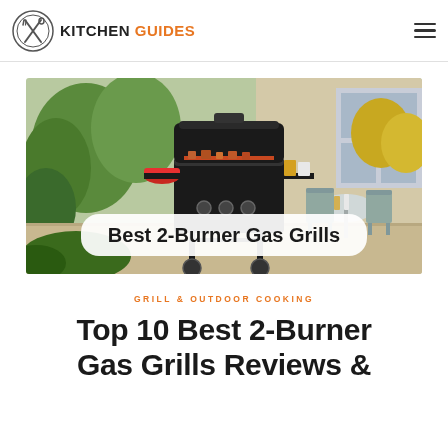KITCHEN GUIDES
[Figure (photo): Outdoor gas grill with food cooking on it in a garden setting, with patio furniture in the background. White rounded rectangle overlay with bold text reading 'Best 2-Burner Gas Grills'.]
GRILL & OUTDOOR COOKING
Top 10 Best 2-Burner Gas Grills Reviews &